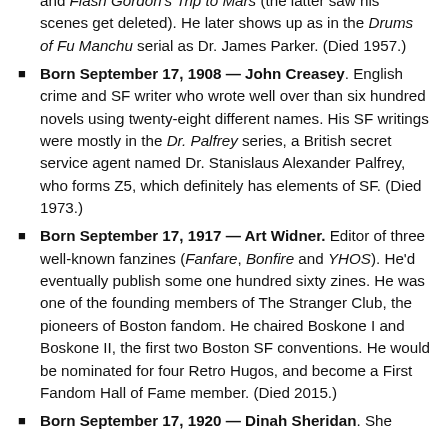and Flash Gordon's Trip to Mars (the latter saw his scenes get deleted). He later shows up as in the Drums of Fu Manchu serial as Dr. James Parker. (Died 1957.)
Born September 17, 1908 — John Creasey. English crime and SF writer who wrote well over than six hundred novels using twenty-eight different names. His SF writings were mostly in the Dr. Palfrey series, a British secret service agent named Dr. Stanislaus Alexander Palfrey, who forms Z5, which definitely has elements of SF. (Died 1973.)
Born September 17, 1917 — Art Widner. Editor of three well-known fanzines (Fanfare, Bonfire and YHOS). He'd eventually publish some one hundred sixty zines. He was one of the founding members of The Stranger Club, the pioneers of Boston fandom. He chaired Boskone I and Boskone II, the first two Boston SF conventions. He would be nominated for four Retro Hugos, and become a First Fandom Hall of Fame member. (Died 2015.)
Born September 17, 1920 — Dinah Sheridan. She